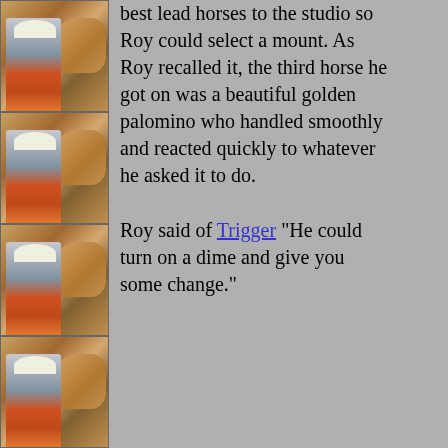[Figure (photo): Four repeated photos of Roy Rogers with a palomino horse, stacked vertically on the left column]
best lead horses to the studio so Roy could select a mount. As Roy recalled it, the third horse he got on was a beautiful golden palomino who handled smoothly and reacted quickly to whatever he asked it to do.

Roy said of Trigger "He could turn on a dime and give you some change."